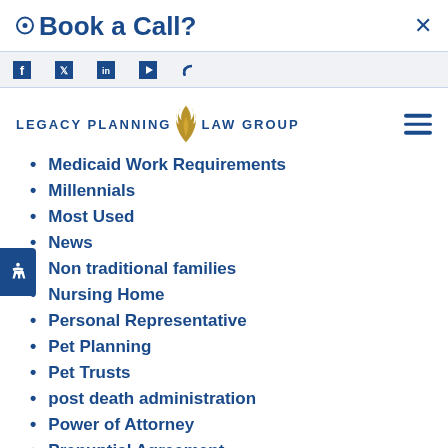Book a Call?
[Figure (logo): Legacy Planning Law Group logo with flame icon]
Medicaid Work Requirements
Millennials
Most Used
News
Non traditional families
Nursing Home
Personal Representative
Pet Planning
Pet Trusts
post death administration
Power of Attorney
Prenuptial Agreement
Probate